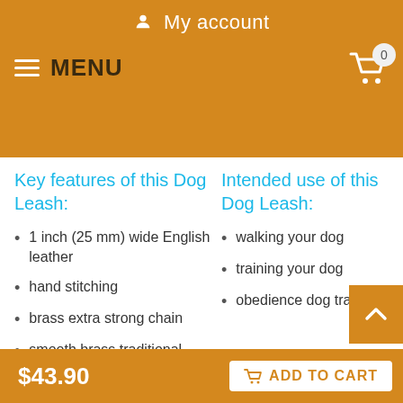My account
MENU
Key features of this Dog Leash:
1 inch (25 mm) wide English leather
hand stitching
brass extra strong chain
smooth brass traditional snap hook
best anti chew solution
Intended use of this Dog Leash:
walking your dog
training your dog
obedience dog training
Sizes available:
chain length 22 inch ( 55
Available colors:
dark brown
$43.90  ADD TO CART